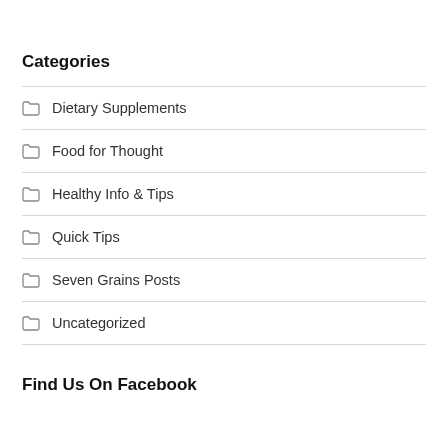Categories
Dietary Supplements
Food for Thought
Healthy Info & Tips
Quick Tips
Seven Grains Posts
Uncategorized
Find Us On Facebook